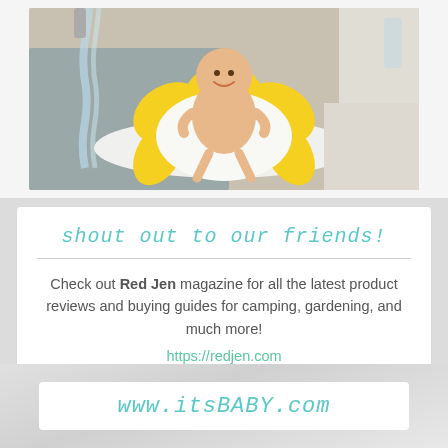[Figure (photo): Baby sitting in a yellow flower-shaped bath insert placed in a kitchen sink, with water running from the faucet.]
shout out to our friends!
Check out Red Jen magazine for all the latest product reviews and buying guides for camping, gardening, and much more!
https://redjen.com
www.itsBABY.com